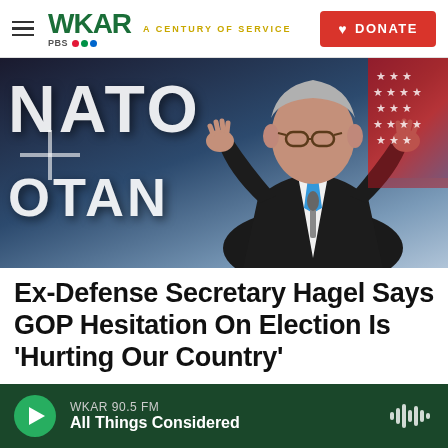WKAR · A CENTURY OF SERVICE · DONATE
[Figure (photo): Man in dark suit with blue tie speaking at a podium with hands raised in front of a NATO sign and American flag backdrop]
Ex-Defense Secretary Hagel Says GOP Hesitation On Election Is 'Hurting Our Country'
WKAR 90.5 FM · All Things Considered